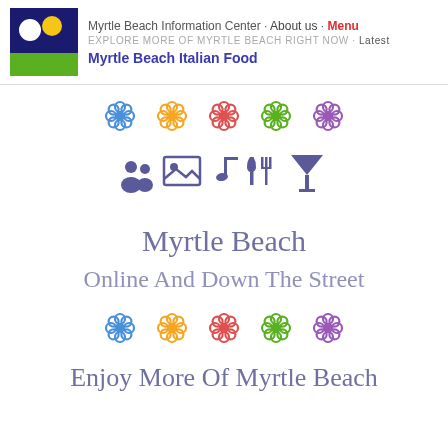Myrtle Beach Information Center · About us · Menu
EXPLORE MORE OF MYRTLE BEACH RIGHT NOW · Latest
Myrtle Beach Italian Food
[Figure (illustration): Five decorative flower icons in a row: blue, yellow, pink/red, green, purple]
[Figure (illustration): Row of purple icons: people/group, image frame, music note, fork and knife, cocktail glass]
Myrtle Beach
Online And Down The Street
[Figure (illustration): Five decorative flower icons in a row: blue, yellow, pink/red, green, purple]
Enjoy More Of Myrtle Beach